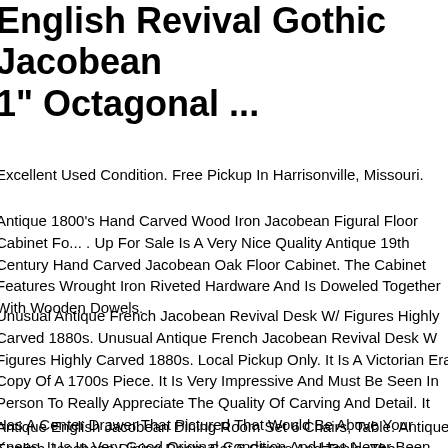English Revival Gothic Jacobean 1" Octagonal ...
Excellent Used Condition. Free Pickup In Harrisonville, Missouri.
Antique 1800's Hand Carved Wood Iron Jacobean Figural Floor Cabinet Fo... . Up For Sale Is A Very Nice Quality Antique 19th Century Hand Carved Jacobean Oak Floor Cabinet. The Cabinet Features Wrought Iron Riveted Hardware And Is Doweled Together With Wooden Dowels.
Unusual Antique French Jacobean Revival Desk W/ Figures Highly Carved 1880s. Unusual Antique French Jacobean Revival Desk W Figures Highly Carved 1880s. Local Pickup Only. It Is A Victorian Era Copy Of A 1700s Piece. It Is Very Impressive And Must Be Seen In Person To Really Appreciate The Quality Of Carving And Detail. It Has A Center Drawer That Pictured That Would Be Above Your Knees. It Is In Very Good Original Condition And Has Never Been Altered Or Messed With In Any Way. You Can Come See It In Person. Its An Impressive One. Please Contact Me With Any Questions Or For More Pictures. Reasonable Offers Considered.
Antique English Jacobean Dining Room Set 6 Chairs, Table. Antique English Jacobean Dining Room Set 6 Chairs And Table. The Following Are The